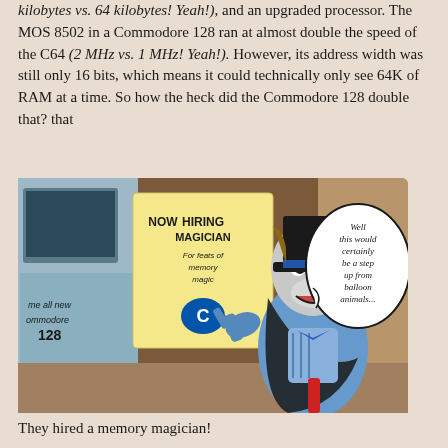kilobytes vs. 64 kilobytes! Yeah!), and an upgraded processor. The MOS 8502 in a Commodore 128 ran at almost double the speed of the C64 (2 MHz vs. 1 MHz! Yeah!). However, its address width was still only 16 bits, which means it could technically only see 64K of RAM at a time. So how the heck did the Commodore 128 double that? that
[Figure (illustration): A cartoon wolf dressed as a magician in a top hat and blue suit, pointing at a 'NOW HIRING MAGICIAN For feats of memory magic' sign with a Commodore logo. A speech bubble reads: 'Well this would certainly be a step up from balloon animals...']
They hired a memory magician!
With older computers, you had to trick them into thinking they only had as much RAM that a particular constraint could